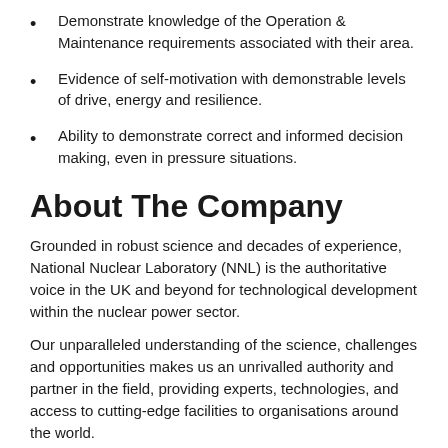Demonstrate knowledge of the Operation & Maintenance requirements associated with their area.
Evidence of self-motivation with demonstrable levels of drive, energy and resilience.
Ability to demonstrate correct and informed decision making, even in pressure situations.
About The Company
Grounded in robust science and decades of experience, National Nuclear Laboratory (NNL) is the authoritative voice in the UK and beyond for technological development within the nuclear power sector.
Our unparalleled understanding of the science, challenges and opportunities makes us an unrivalled authority and partner in the field, providing experts, technologies, and access to cutting-edge facilities to organisations around the world.
Harnessing potential technologies and translating them into to industry-ready solutions means our pioneering approach